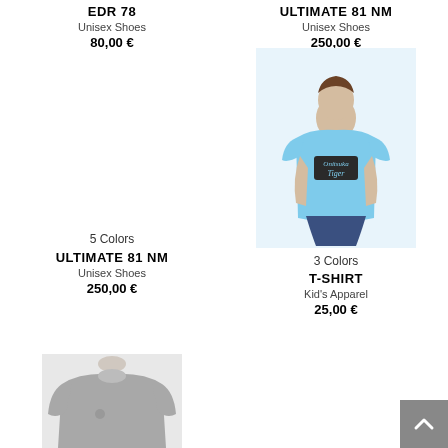EDR 78
Unisex Shoes
80,00 €
ULTIMATE 81 NM
Unisex Shoes
250,00 €
5 Colors
ULTIMATE 81 NM
Unisex Shoes
250,00 €
[Figure (photo): Child wearing a light blue Onitsuka Tiger t-shirt]
3 Colors
T-SHIRT
Kid's Apparel
25,00 €
[Figure (photo): Person wearing a grey long-sleeve sweatshirt]